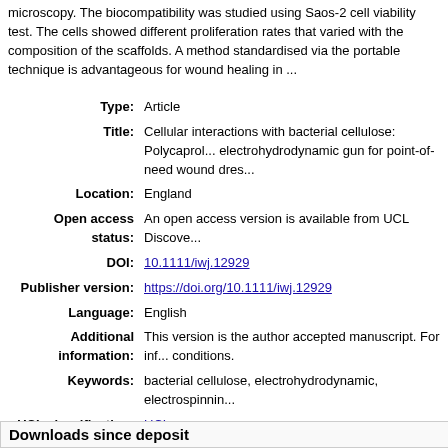microscopy. The biocompatibility was studied using Saos-2 cell viability test. The cells showed different proliferation rates that varied with the composition of the scaffolds. A method standardised via the portable technique is advantageous for wound healing in ...
| Field | Value |
| --- | --- |
| Type: | Article |
| Title: | Cellular interactions with bacterial cellulose: Polycaprolactone electrohydrodynamic gun for point-of-need wound dres... |
| Location: | England |
| Open access status: | An open access version is available from UCL Discove... |
| DOI: | 10.1111/iwj.12929 |
| Publisher version: | https://doi.org/10.1111/iwj.12929 |
| Language: | English |
| Additional information: | This version is the author accepted manuscript. For inf... conditions. |
| Keywords: | bacterial cellulose, electrohydrodynamic, electrospinnin... |
| UCL classification: | UCL
UCL > Provost and Vice Provost Offices > UCL BEAMS
UCL > Provost and Vice Provost Offices > UCL BEAMS
UCL > Provost and Vice Provost Offices > UCL BEAMS
Engineering |
| URI: | https://discovery.ucl.ac.uk/id/eprint/10055238 |
Downloads since deposit